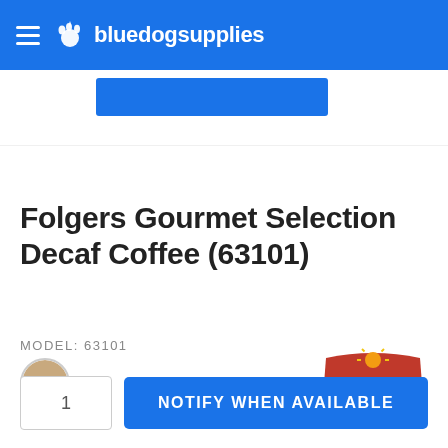bluedogsupplies
Folgers Gourmet Selection Decaf Coffee (63101)
MODEL: 63101
[Figure (logo): Folgers brand logo — red banner with stylized sun and white Folgers text]
[Figure (logo): SM circular icon showing a brown coffee tin]
NOTIFY WHEN AVAILABLE